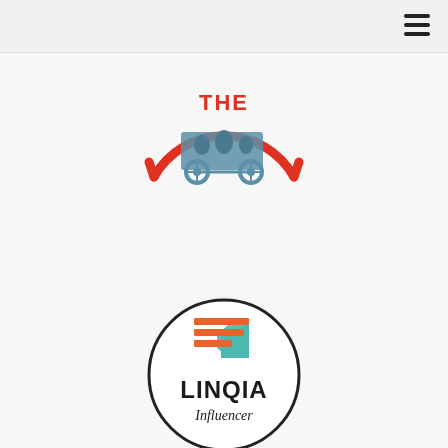[Figure (logo): Top logo: semicircular arc in red with 'THE' text in red block letters above a blue illustrated wagon/cart, forming a half-circle badge.]
[Figure (logo): Bottom logo: circular badge with a dark border containing an orange and teal stacked-lines icon above the text 'LINQIA' in bold and 'Influencer' in italic below.]